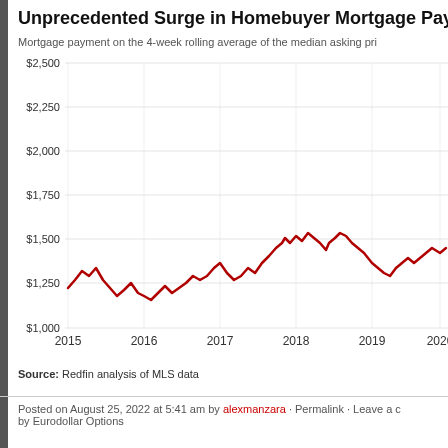Unprecedented Surge in Homebuyer Mortgage Payment
Mortgage payment on the 4-week rolling average of the median asking pri...
[Figure (line-chart): Unprecedented Surge in Homebuyer Mortgage Payment]
Source: Redfin analysis of MLS data
Posted on August 25, 2022 at 5:41 am by alexmanzara · Permalink · Leave a c... by Eurodollar Options